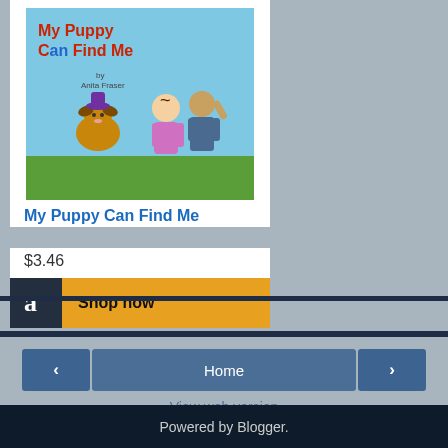[Figure (illustration): Book cover for 'My Puppy Can Find Me' showing illustrated children and a dog on a blue sky and green grass background]
My Puppy Can Find Me
$3.46
[Figure (logo): Amazon 'a' logo icon with Shop now button on golden yellow background]
Unknown at 2:13:00 PM   6 comments:
Share
‹
Home
›
View web version
Powered by Blogger.